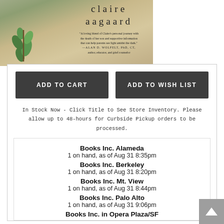[Figure (photo): Book cover image for a book by Claire Aagaard, showing a plant sprouting from sandy ground, with the author name 'claire aagaard' in serif font and a quote: 'A loving blend of Claire's personal journey with the death of her son and supportive information that can help parents see light amidst the dark.' —ALAN D. WOLFELT, PhD, CT, author, educator, and grief counselor]
ADD TO CART
ADD TO WISH LIST
In Stock Now - Click Title to See Store Inventory. Please allow up to 48-hours for Curbside Pickup orders to be processed.
Books Inc. Alameda
1 on hand, as of Aug 31 8:35pm
Books Inc. Berkeley
1 on hand, as of Aug 31 8:20pm
Books Inc. Mt. View
1 on hand, as of Aug 31 8:44pm
Books Inc. Palo Alto
1 on hand, as of Aug 31 9:06pm
Books Inc. in Opera Plaza/SF